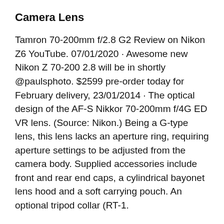Camera Lens
Tamron 70-200mm f/2.8 G2 Review on Nikon Z6 YouTube. 07/01/2020 · Awesome new Nikon Z 70-200 2.8 will be in shortly @paulsphoto. $2599 pre-order today for February delivery, 23/01/2014 · The optical design of the AF-S Nikkor 70-200mm f/4G ED VR lens. (Source: Nikon.) Being a G-type lens, this lens lacks an aperture ring, requiring aperture settings to be adjusted from the camera body. Supplied accessories include front and rear end caps, a cylindrical bayonet lens hood and a soft carrying pouch. An optional tripod collar (RT-1.